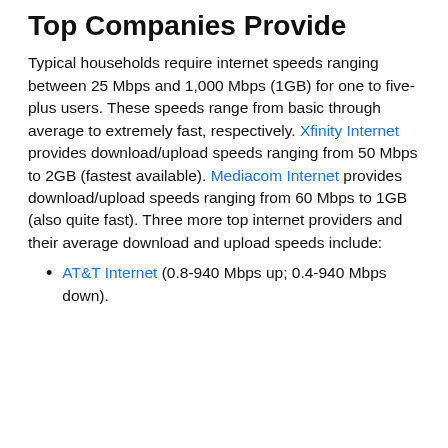Top Companies Provide
Typical households require internet speeds ranging between 25 Mbps and 1,000 Mbps (1GB) for one to five-plus users. These speeds range from basic through average to extremely fast, respectively. Xfinity Internet provides download/upload speeds ranging from 50 Mbps to 2GB (fastest available). Mediacom Internet provides download/upload speeds ranging from 60 Mbps to 1GB (also quite fast). Three more top internet providers and their average download and upload speeds include:
AT&T Internet (0.8-940 Mbps up; 0.4-940 Mbps down).